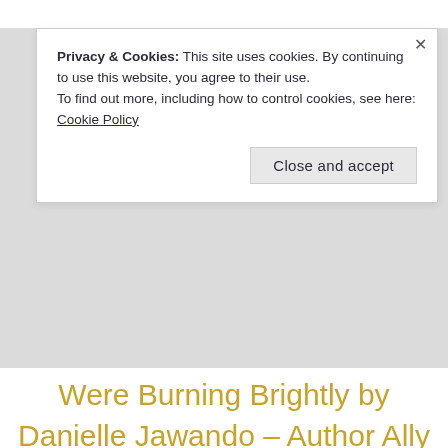Privacy & Cookies: This site uses cookies. By continuing to use this website, you agree to their use.
To find out more, including how to control cookies, see here: Cookie Policy
Close and accept
Were Burning Brightly by Danielle Jawando – Author Ally Aldridge
Pingback: Behind the Book: Stuck on Vacation with Ryan Rupert by Pagan Malcolm – Author Ally Aldridge
Pingback: Behind the Book: World for the Broken by Elexis Bell – Author Ally